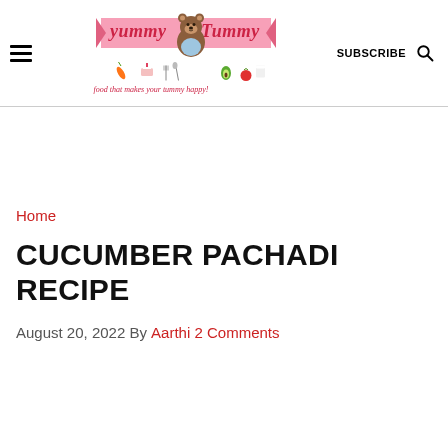Yummy Tummy — food that makes your tummy happy! | SUBSCRIBE
Home
CUCUMBER PACHADI RECIPE
August 20, 2022 By Aarthi 2 Comments